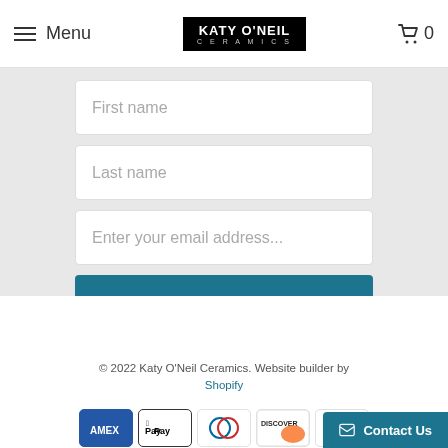Menu  KATY O'NEIL CERAMICS  🛒 0
First name
Last name
Enter your email address...
SIGN UP
© 2022 Katy O'Neil Ceramics. Website builder by Shopify
[Figure (other): Payment method icons: American Express, Apple Pay, Diners Club, Discover, Mastercard (red/yellow), Mastercard, Shop Pay, Visa]
Contact Us